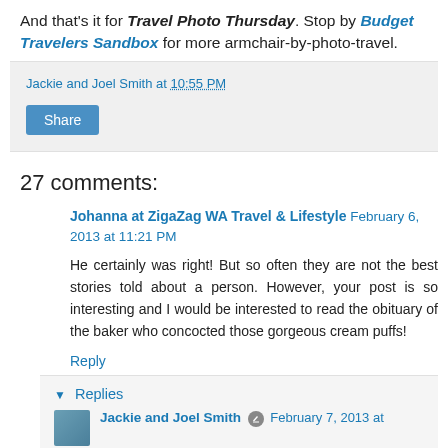And that's it for Travel Photo Thursday. Stop by Budget Travelers Sandbox for more armchair-by-photo-travel.
Jackie and Joel Smith at 10:55 PM
Share
27 comments:
Johanna at ZigaZag WA Travel & Lifestyle February 6, 2013 at 11:21 PM
He certainly was right! But so often they are not the best stories told about a person. However, your post is so interesting and I would be interested to read the obituary of the baker who concocted those gorgeous cream puffs!
Reply
▼ Replies
Jackie and Joel Smith  February 7, 2013 at